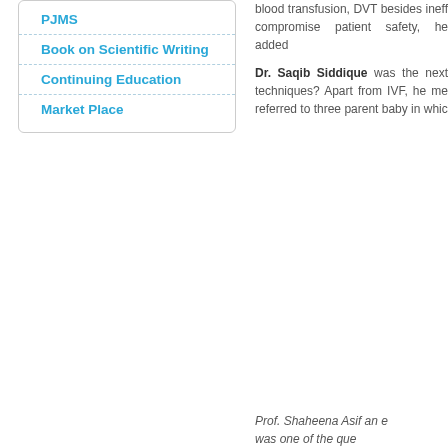PJMS
Book on Scientific Writing
Continuing Education
Market Place
blood transfusion, DVT besides ineff... compromise patient safety, he added...
Dr. Saqib Siddique was the next techniques? Apart from IVF, he me... referred to three parent baby in whic...
Prof. Shaheena Asif an e... was one of the que...